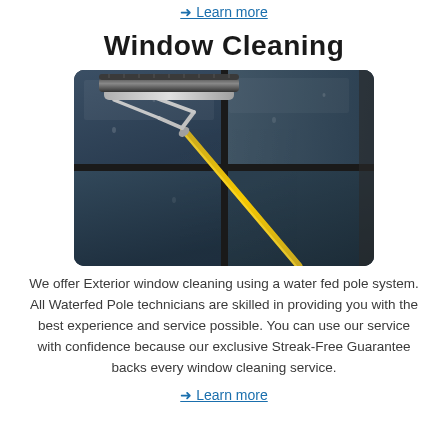→ Learn more
Window Cleaning
[Figure (photo): A window cleaning squeegee on an extension pole with a yellow handle being used on a large glass surface, viewed from below at an angle.]
We offer Exterior window cleaning using a water fed pole system. All Waterfed Pole technicians are skilled in providing you with the best experience and service possible. You can use our service with confidence because our exclusive Streak-Free Guarantee backs every window cleaning service.
→ Learn more